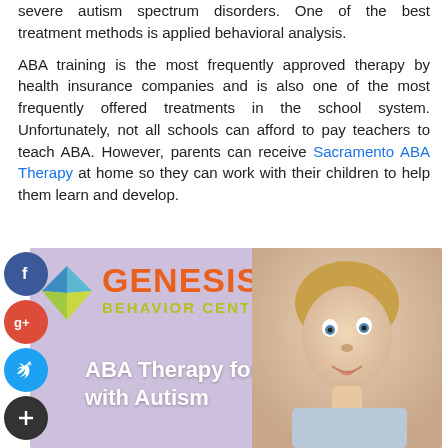severe autism spectrum disorders. One of the best treatment methods is applied behavioral analysis.
ABA training is the most frequently approved therapy by health insurance companies and is also one of the most frequently offered treatments in the school system. Unfortunately, not all schools can afford to pay teachers to teach ABA. However, parents can receive Sacramento ABA Therapy at home so they can work with their children to help them learn and develop.
[Figure (illustration): Genesis Behavior Center banner showing logo with diamond shape, orange GENESIS text, yellow-green BEHAVIOR CENTER text, and tagline 'ABA Therapy for Children with Autism' on a purple-lavender background with a photo of a young blond boy looking upward.]